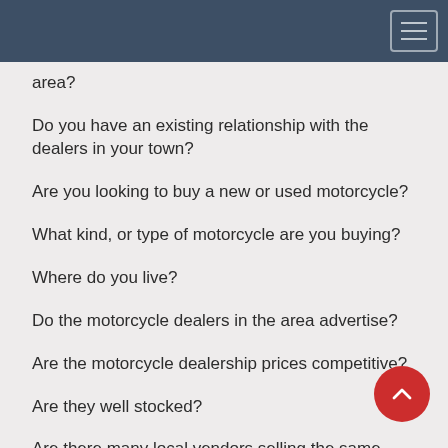area?
Do you have an existing relationship with the dealers in your town?
Are you looking to buy a new or used motorcycle?
What kind, or type of motorcycle are you buying?
Where do you live?
Do the motorcycle dealers in the area advertise?
Are the motorcycle dealership prices competitive?
Are they well stocked?
Are there many local vendors selling the same